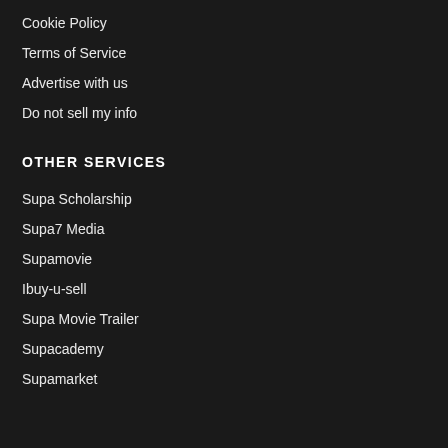Cookie Policy
Terms of Service
Advertise with us
Do not sell my info
OTHER SERVICES
Supa Scholarship
Supa7 Media
Supamovie
Ibuy-u-sell
Supa Movie Trailer
Supacademy
Supamarket